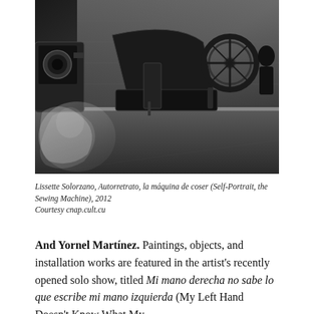[Figure (photo): Black and white photograph of a vintage Singer sewing machine on a table, with a ghostly double-exposure effect showing a figure or fabric in the lower left. A camera or equipment is visible on the left side. The image has a moody, dark tone.]
Lissette Solorzano, Autorretrato, la máquina de coser (Self-Portrait, the Sewing Machine), 2012
Courtesy cnap.cult.cu
And Yornel Martínez. Paintings, objects, and installation works are featured in the artist's recently opened solo show, titled Mi mano derecha no sabe lo que escribe mi mano izquierda (My Left Hand Doesn't Know What My